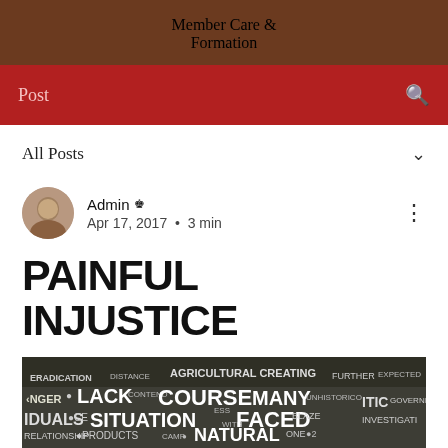Member Care & Formation
Post
All Posts
Admin  Apr 17, 2017 · 3 min
PAINFUL INJUSTICE
[Figure (illustration): Word cloud image with words related to injustice including LACK, SITUATION, COURSE, MANY, FACED, NATURAL, PRODUCTS, HUNGER, INDIVIDUALS, RELATIONSHIP, ERADICATION, AGRICULTURAL, CREATING]